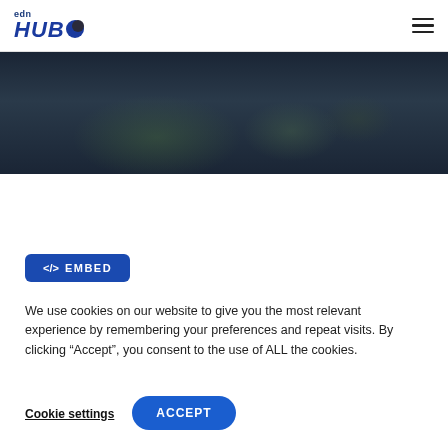edn HUB
[Figure (photo): Dark hero image with greenish plant/foliage tones on dark background]
</> EMBED
We use cookies on our website to give you the most relevant experience by remembering your preferences and repeat visits. By clicking “Accept”, you consent to the use of ALL the cookies.
Cookie settings  ACCEPT